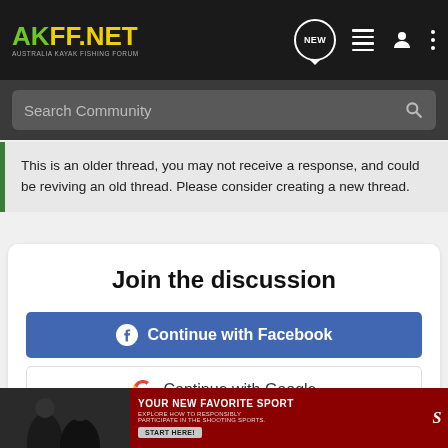AKFF.NET AUSTRALIA KAYAK FISHING FORUM
Search Community
This is an older thread, you may not receive a response, and could be reviving an old thread. Please consider creating a new thread.
Join the discussion
Continue with Facebook
Continue with Google
or sign up with email
[Figure (screenshot): Advertisement banner for shooting sports with red background, headline YOUR NEW FAVORITE SPORT, subtext EXPLORE HOW TO RESPONSIBLY PARTICIPATE IN THE SHOOTING SPORTS., and START HERE! button]